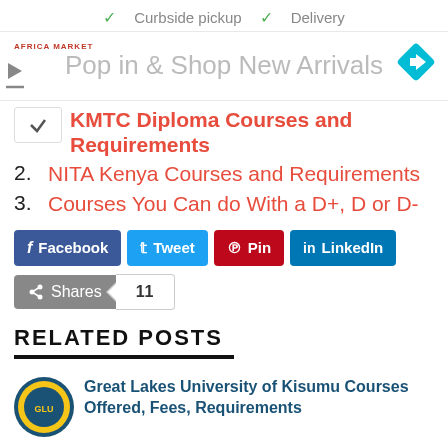[Figure (screenshot): Ad banner: checkmarks for Curbside pickup and Delivery, Africa Market logo, navigation icon, Pop in & Shop New Arrivals text]
KMTC Diploma Courses and Requirements
2. NITA Kenya Courses and Requirements
3. Courses You Can do With a D+, D or D-
[Figure (infographic): Social sharing buttons: Facebook, Tweet, Pin, LinkedIn, and Shares count of 11]
RELATED POSTS
Great Lakes University of Kisumu Courses Offered, Fees, Requirements